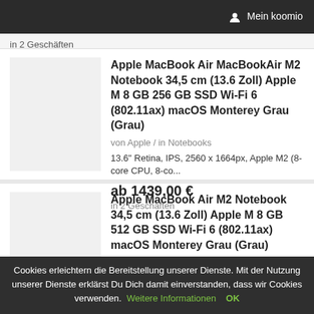Mein koomio
in 2 Geschäften
Apple MacBook Air MacBookAir M2 Notebook 34,5 cm (13.6 Zoll) Apple M 8 GB 256 GB SSD Wi-Fi 6 (802.11ax) macOS Monterey Grau (Grau)
von Apple / in Notebooks
13.6" Retina, IPS, 2560 x 1664px, Apple M2 (8-core CPU, 8-co...
ab 1439,00 €
in 2 Geschäften
Apple MacBook Air M2 Notebook 34,5 cm (13.6 Zoll) Apple M 8 GB 512 GB SSD Wi-Fi 6 (802.11ax) macOS Monterey Grau (Grau)
Cookies erleichtern die Bereitstellung unserer Dienste. Mit der Nutzung unserer Dienste erklärst Du Dich damit einverstanden, dass wir Cookies verwenden. Weitere Informationen OK